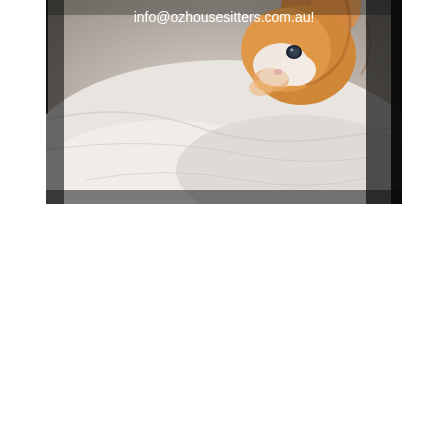[Figure (photo): Close-up photo of a cat (appears orange/ginger and white) lying on white fabric/bedding, looking at the camera. The image is cropped so only the top portion of the cat's face and paw area are visible. Text overlay reads 'info@ozhousesitters.com.au!' in white font near the top of the image.]